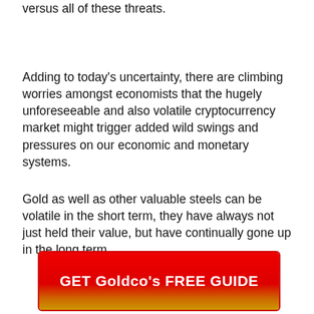versus all of these threats.
Adding to today's uncertainty, there are climbing worries amongst economists that the hugely unforeseeable and also volatile cryptocurrency market might trigger added wild swings and pressures on our economic and monetary systems.
Gold as well as other valuable steels can be volatile in the short term, they have always not just held their value, but have continually gone up in the long term.
[Figure (other): Red to orange-gold gradient button with bold white text reading GET Goldco's FREE GUIDE]